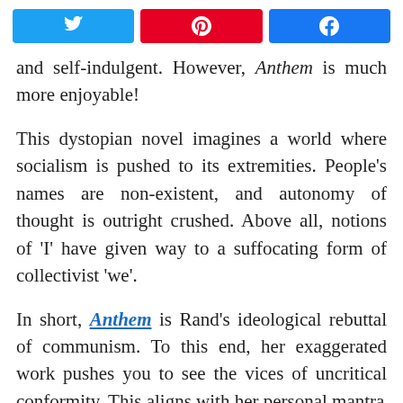[Figure (other): Three social media share buttons: Twitter (blue), Pinterest (red), Facebook (blue)]
and self-indulgent. However, Anthem is much more enjoyable!
This dystopian novel imagines a world where socialism is pushed to its extremities. People's names are non-existent, and autonomy of thought is outright crushed. Above all, notions of 'I' have given way to a suffocating form of collectivist 'we'.
In short, Anthem is Rand's ideological rebuttal of communism. To this end, her exaggerated work pushes you to see the vices of uncritical conformity. This aligns with her personal mantra